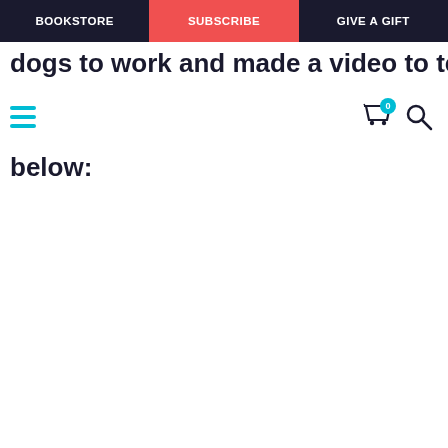BOOKSTORE | SUBSCRIBE | GIVE A GIFT
dogs to work and made a video to tell everybody
[Figure (screenshot): Mobile navigation bar with hamburger menu (teal/cyan three-line icon) on the left, and cart icon with '0' badge (teal) and search icon on the right.]
below: